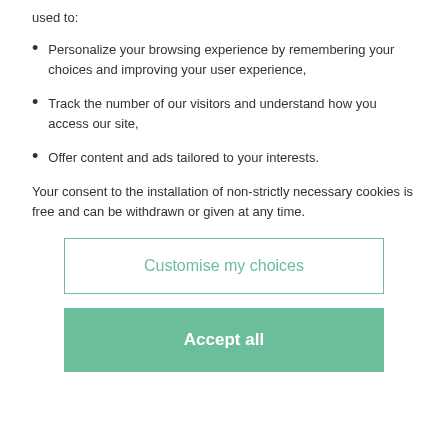used to:
Personalize your browsing experience by remembering your choices and improving your user experience,
Track the number of our visitors and understand how you access our site,
Offer content and ads tailored to your interests.
Your consent to the installation of non-strictly necessary cookies is free and can be withdrawn or given at any time.
Customise my choices
Accept all
60 - 80 EUR
Result 90 EUR
Result without fees